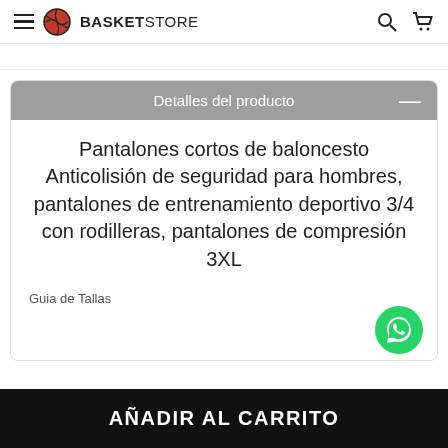BASKETSTORE
(breadcrumb / page title partial)
Detalles del producto
Pantalones cortos de baloncesto Anticolisión de seguridad para hombres, pantalones de entrenamiento deportivo 3/4 con rodilleras, pantalones de compresión 3XL
Guia de Tallas
AÑADIR AL CARRITO